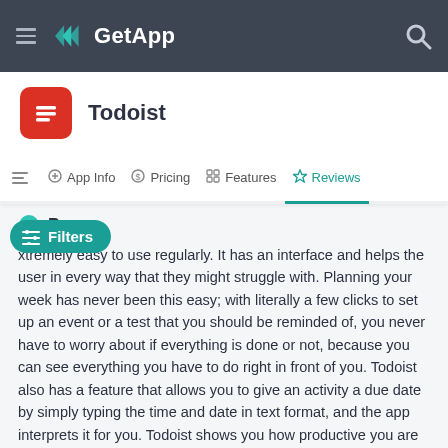GetApp
Todoist
App Info  Pricing  Features  Reviews
Pros
xtremely easy to use regularly. It has an interface and helps the user in every way that they might struggle with. Planning your week has never been this easy; with literally a few clicks to set up an event or a test that you should be reminded of, you never have to worry about if everything is done or not, because you can see everything you have to do right in front of you. Todoist also has a feature that allows you to give an activity a due date by simply typing the time and date in text format, and the app interprets it for you. Todoist shows you how productive you are on a daily basis, to keep you motivated on doing something fruitful. You can set recurring tasks as well to prevent you from having to